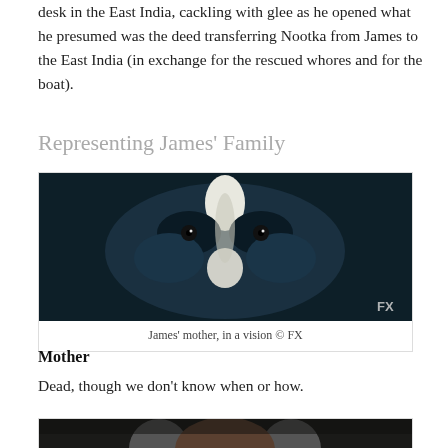desk in the East India, cackling with glee as he opened what he presumed was the deed transferring Nootka from James to the East India (in exchange for the rescued whores and for the boat).
Representing James' Family
[Figure (photo): Close-up of a face with dark and white face paint, shown in a vision scene. FX watermark in bottom right.]
James' mother, in a vision © FX
Mother
Dead, though we don't know when or how.
[Figure (photo): Partial view of an elderly man's face, appears to be another character from the show.]